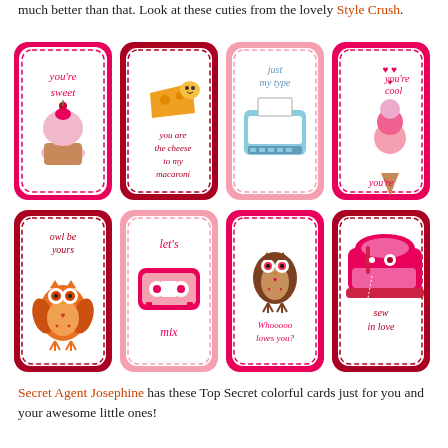much better than that. Look at these cuties from the lovely Style Crush.
[Figure (illustration): 8 Valentine's Day cards arranged in a 4x2 grid. Top row: pink card 'you're sweet' with cupcake; dark red card 'you are the cheese to my macaroni' with cheese emoji; pink card 'just my type' with typewriter; pink card 'you're cool' with ice cream cone. Bottom row: dark red card 'owl be yours' with orange owl; pink card 'let's mix' with cassette tape; pink card 'Whooooo loves you?' with brown owl; dark red card 'sew in love' with pink sewing machine.]
Secret Agent Josephine has these Top Secret colorful cards just for you and your awesome little ones!